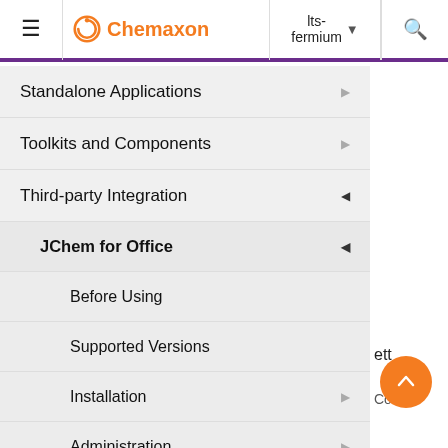Chemaxon — lts-fermium
Standalone Applications
Toolkits and Components
Third-party Integration
JChem for Office
Before Using
Supported Versions
Installation
Administration
Diagnostic Tool